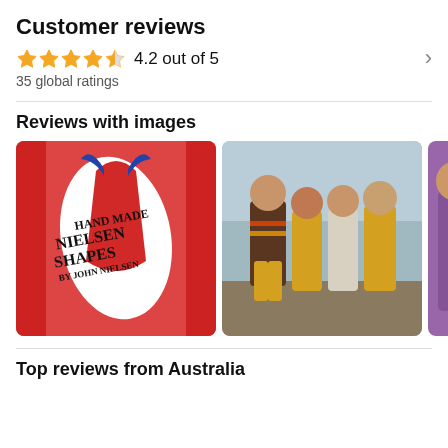Customer reviews
4.2 out of 5
35 global ratings
Reviews with images
[Figure (photo): Photo of a red surfboard with 'Hand Made Nielsen Shapes by John Nielsen' logo featuring a devil motif with blue horns]
[Figure (photo): Vintage photo of four people posing together outdoors, man in brown striped shirt and yellow shorts with three women]
[Figure (photo): Partially visible photo with purple/pink tones showing a person]
Top reviews from Australia